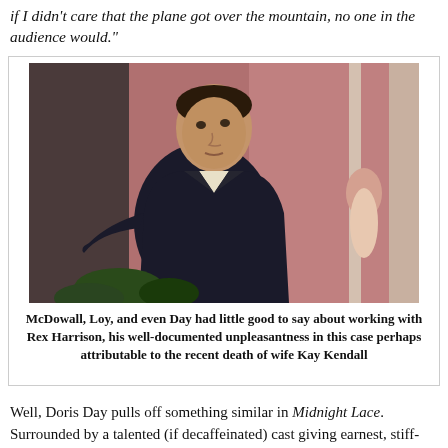if I didn't care that the plane got over the mountain, no one in the audience would."
[Figure (photo): A man in a dark suit leaning forward, photographed in a dramatic pose near a window with pink/reddish background lighting. Film still from Midnight Lace.]
McDowall, Loy, and even Day had little good to say about working with Rex Harrison, his well-documented unpleasantness in this case perhaps attributable to the recent death of wife Kay Kendall
Well, Doris Day pulls off something similar in Midnight Lace. Surrounded by a talented (if decaffeinated) cast giving earnest, stiff-upper-lip performances (Harrison, Parry, Williams) or outright rotten ones (John Gavin), Day being in a near-constant state of distress, panic, terror, and sobbing may come off as shrill to some, but her 100% commitment to the material is the single element providing Midnight Lace with whatever thrill factor it has. In a plot bordering on the preposterous, Day makes the menace believable and her